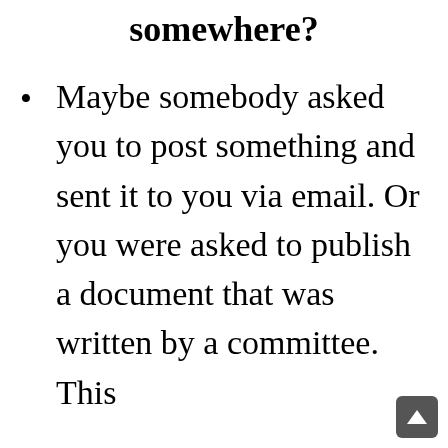somewhere?
Maybe somebody asked you to post something and sent it to you via email. Or you were asked to publish a document that was written by a committee. This